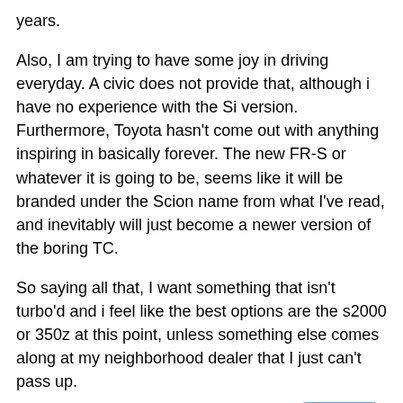years.
Also, I am trying to have some joy in driving everyday. A civic does not provide that, although i have no experience with the Si version. Furthermore, Toyota hasn't come out with anything inspiring in basically forever. The new FR-S or whatever it is going to be, seems like it will be branded under the Scion name from what I've read, and inevitably will just become a newer version of the boring TC.
So saying all that, I want something that isn't turbo'd and i feel like the best options are the s2000 or 350z at this point, unless something else comes along at my neighborhood dealer that I just can't pass up.
QUOTE
1SerieStud 09:29 AM 12-15-2011
Quote: